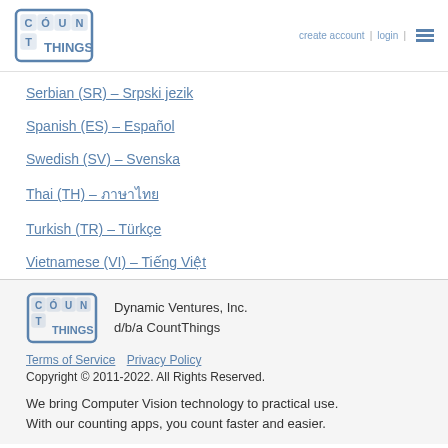CountThings logo | create account | login
Serbian (SR) – Srpski jezik
Spanish (ES) – Español
Swedish (SV) – Svenska
Thai (TH) – ภาษาไทย
Turkish (TR) – Türkçe
Vietnamese (VI) – Tiếng Việt
Dynamic Ventures, Inc. d/b/a CountThings | Terms of Service | Privacy Policy | Copyright © 2011-2022. All Rights Reserved. | We bring Computer Vision technology to practical use. With our counting apps, you count faster and easier.